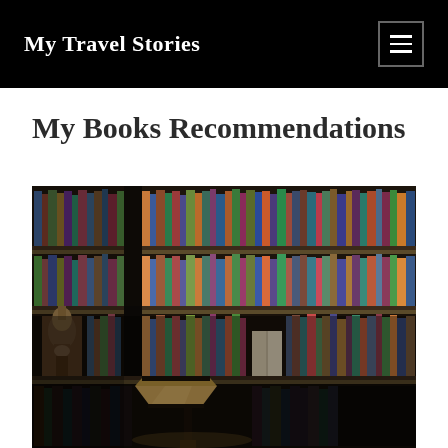My Travel Stories
My Books Recommendations
[Figure (photo): A cozy bookstore or library interior with tall dark wooden shelves filled with colorful books, a wooden carved statue on the left, and a table lamp with a beige shade in the foreground center.]